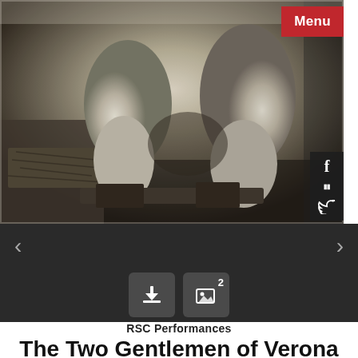[Figure (photo): Black and white photograph showing two people seated, cropped at torso/legs level, on what appears to be a bench or prop in a theatrical setting]
Menu
RSC Performances
The Two Gentlemen of Verona